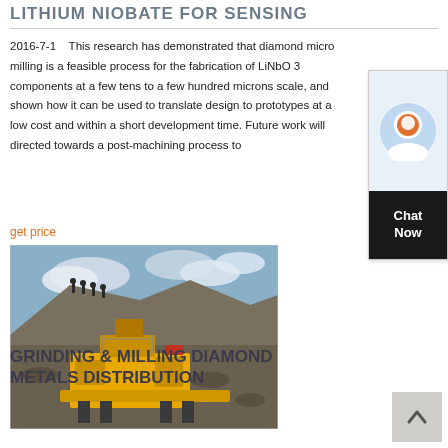LITHIUM NIOBATE FOR SENSING
2016-7-1    This research has demonstrated that diamond micro milling is a feasible process for the fabrication of LiNbO 3 components at a few tens to a few hundred microns scale, and shown how it can be used to translate design to prototypes at a low cost and within a short development time. Future work will directed towards a post-machining process to
get price
[Figure (photo): Yellow mobile crushing/milling machine on a rocky mine site with people standing on a large rock formation in the background and cloudy sky]
GRINDING & MILLING DIAMOND METALS DISTRIBUTION